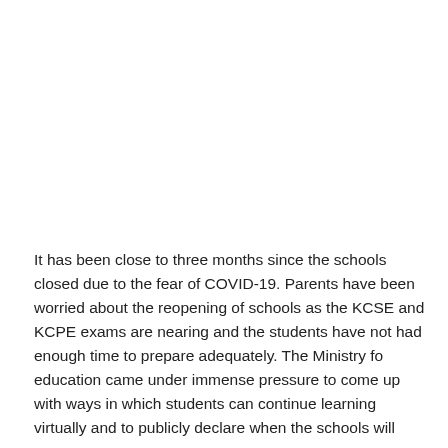It has been close to three months since the schools closed due to the fear of COVID-19. Parents have been worried about the reopening of schools as the KCSE and KCPE exams are nearing and the students have not had enough time to prepare adequately. The Ministry fo education came under immense pressure to come up with ways in which students can continue learning virtually and to publicly declare when the schools will reopen.